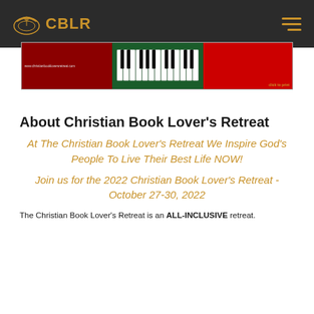CBLR
[Figure (screenshot): Banner image strip with three panels: left red panel with small text, center green panel with piano keys image, right red panel with small golden text]
About Christian Book Lover's Retreat
At The Christian Book Lover's Retreat We Inspire God's People To Live Their Best Life NOW!
Join us for the 2022 Christian Book Lover's Retreat - October 27-30, 2022
The Christian Book Lover's Retreat is an ALL-INCLUSIVE retreat.